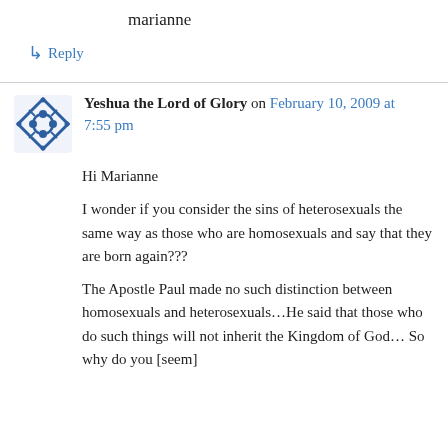marianne
↳ Reply
Yeshua the Lord of Glory on February 10, 2009 at 7:55 pm
Hi Marianne
I wonder if you consider the sins of heterosexuals the same way as those who are homosexuals and say that they are born again???
The Apostle Paul made no such distinction between homosexuals and heterosexuals…He said that those who do such things will not inherit the Kingdom of God… So why do you [seem]